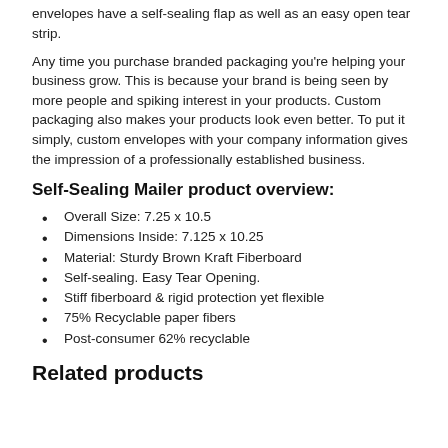envelopes have a self-sealing flap as well as an easy open tear strip.
Any time you purchase branded packaging you’re helping your business grow. This is because your brand is being seen by more people and spiking interest in your products. Custom packaging also makes your products look even better. To put it simply, custom envelopes with your company information gives the impression of a professionally established business.
Self-Sealing Mailer product overview:
Overall Size: 7.25 x 10.5
Dimensions Inside: 7.125 x 10.25
Material: Sturdy Brown Kraft Fiberboard
Self-sealing. Easy Tear Opening.
Stiff fiberboard & rigid protection yet flexible
75% Recyclable paper fibers
Post-consumer 62% recyclable
Related products